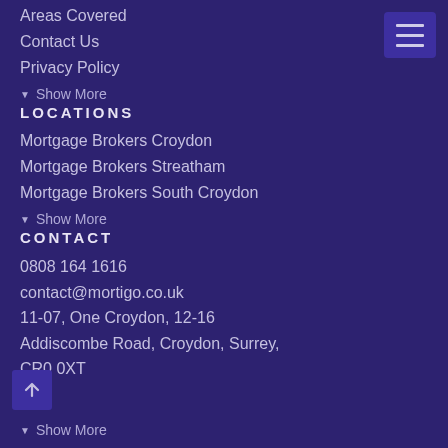Areas Covered
Contact Us
Privacy Policy
▼ Show More
LOCATIONS
Mortgage Brokers Croydon
Mortgage Brokers Streatham
Mortgage Brokers South Croydon
▼ Show More
CONTACT
0808 164 1616
contact@mortigo.co.uk
11-07, One Croydon, 12-16
Addiscombe Road, Croydon, Surrey,
CR0 0XT
▼ Show More